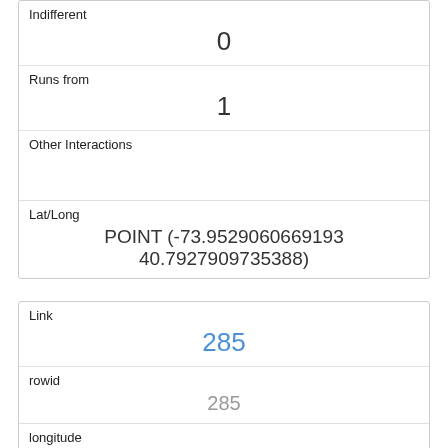| Field | Value |
| --- | --- |
| Indifferent | 0 |
| Runs from | 1 |
| Other Interactions |  |
| Lat/Long | POINT (-73.9529060669193 40.7927909735388) |
| Field | Value |
| --- | --- |
| Link | 285 |
| rowid | 285 |
| longitude | -73.9691433356733 |
| latitude | 40.7731708333242 |
| Unique Squirrel ID | 11G-AM-1012-01 |
| Hectare | 11G |